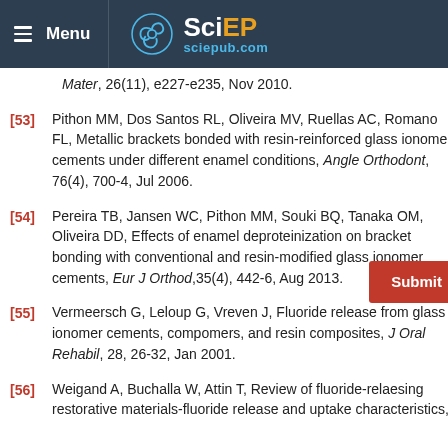Menu | SciEP sciepub.com
Mater, 26(11), e227-e235, Nov 2010.
[53] Pithon MM, Dos Santos RL, Oliveira MV, Ruellas AC, Romano FL, Metallic brackets bonded with resin-reinforced glass ionomer cements under different enamel conditions, Angle Orthodont, 76(4), 700-4, Jul 2006.
[54] Pereira TB, Jansen WC, Pithon MM, Souki BQ, Tanaka OM, Oliveira DD, Effects of enamel deproteinization on bracket bonding with conventional and resin-modified glass ionomer cements, Eur J Orthod, 35(4), 442-6, Aug 2013.
[55] Vermeersch G, Leloup G, Vreven J, Fluoride release from glass ionomer cements, compomers, and resin composites, J Oral Rehabil, 28, 26-32, Jan 2001.
[56] Weigand A, Buchalla W, Attin T, Review of fluoride-relaesing restorative materials-fluoride release and uptake characteristics,